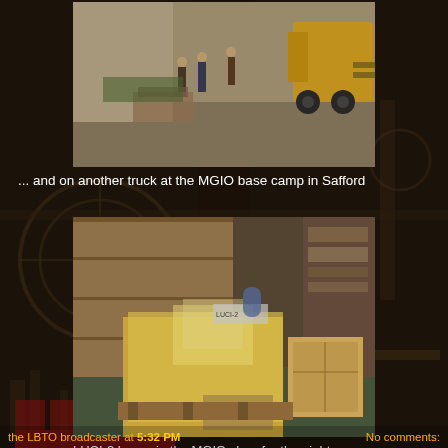[Figure (photo): Forklift and people at MGIO base camp in Safford, outdoor loading area]
... and on another truck at the MGIO base camp in Safford
[Figure (photo): LUCI-2 instrument boxes wrapped in plastic and wooden crates inside the MGIO shop]
LUCI-2 boxes in the MGIO shop for the night
the LBTO broadcaster at 5:32 PM      No comments: